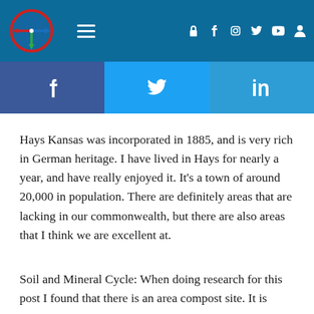[Figure (screenshot): Website navigation bar with circular logo (compass/clock icon with red border, blue background, colored directional arrows), hamburger menu icon, and social media icons (lock, Facebook, Instagram, Twitter, YouTube, Amazon) on dark blue background]
[Figure (screenshot): Social media share buttons: Facebook (dark blue), Twitter (light blue), LinkedIn (light blue)]
Hays Kansas was incorporated in 1885, and is very rich in German heritage. I have lived in Hays for nearly a year, and have really enjoyed it. It’s a town of around 20,000 in population. There are definitely areas that are lacking in our commonwealth, but there are also areas that I think we are excellent at.
Soil and Mineral Cycle: When doing research for this post I found that there is an area compost site. It is